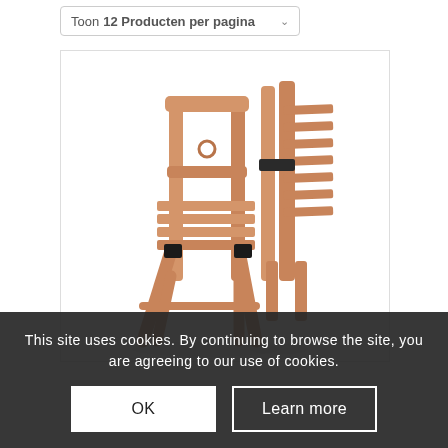Toon 12 Producten per pagina
[Figure (photo): Two wooden folding chairs — one open and one folded — shown against a white background. The chairs are made of light natural beech wood with black metal hinges.]
This site uses cookies. By continuing to browse the site, you are agreeing to our use of cookies.
OK
Learn more